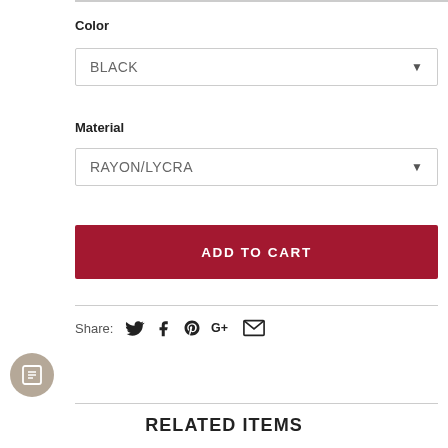Color
[Figure (screenshot): Dropdown selector showing BLACK selected]
Material
[Figure (screenshot): Dropdown selector showing RAYON/LYCRA selected]
ADD TO CART
Share:
RELATED ITEMS